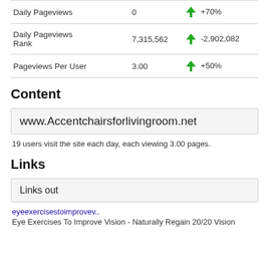|  |  |  |
| --- | --- | --- |
| Daily Pageviews | 0 | ↑ +70% |
| Daily Pageviews Rank | 7,315,562 | ↑ -2,902,082 |
| Pageviews Per User | 3.00 | ↑ +50% |
Content
www.Accentchairsforlivingroom.net
19 users visit the site each day, each viewing 3.00 pages.
Links
Links out
eyeexercisestoimprovev..
Eye Exercises To Improve Vision - Naturally Regain 20/20 Vision